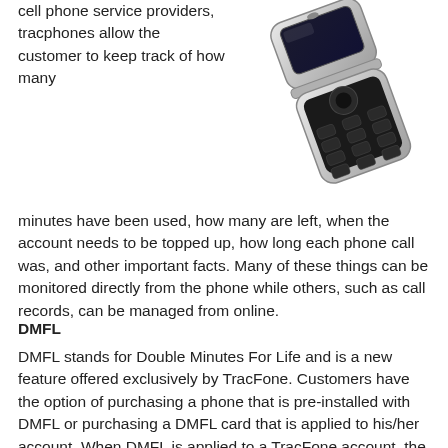cell phone service providers, tracphones allow the customer to keep track of how many minutes have been used, how many are left, when the account needs to be topped up, how long each phone call was, and other important facts. Many of these things can be monitored directly from the phone while others, such as call records, can be managed from online.
[Figure (photo): A silver flip cell phone (tracphone) shown open at an angle, displaying keypad and screen area.]
DMFL
DMFL stands for Double Minutes For Life and is a new feature offered exclusively by TracFone. Customers have the option of purchasing a phone that is pre-installed with DMFL or purchasing a DMFL card that is applied to his/her account. When DMFL is applied to a TracFone account, the customer will always receive twice as many minutes as he/she purchases. Ironically, tracphones pre-